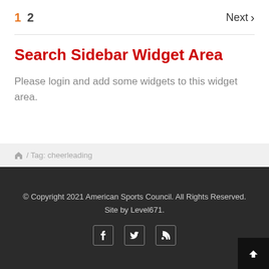1  2   Next >
Search Sidebar Widget Area
Please login and add some widgets to this widget area.
⌂ / Tag: cheerleading
© Copyright 2021 American Sports Council. All Rights Reserved. Site by Level671.